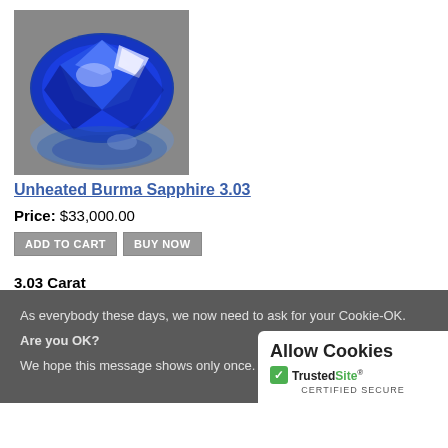[Figure (photo): Oval-cut blue sapphire gemstone with reflection on gray background]
Unheated Burma Sapphire 3.03
Price: $33,000.00
ADD TO CART   BUY NOW
3.03 Carat
Deep Kashmir Blue
As everybody these days, we now need to ask for your Cookie-OK.
Are you OK?
We hope this message shows only once.
Allow Cookies
[Figure (logo): TrustedSite CERTIFIED SECURE logo with green checkmark]